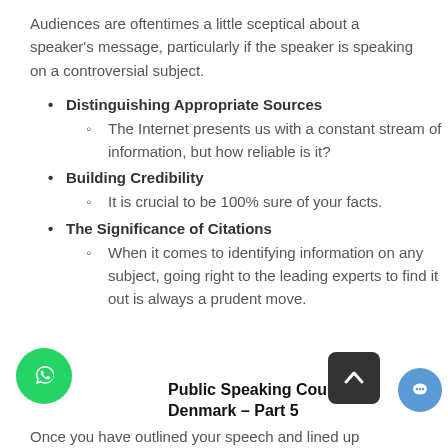Audiences are oftentimes a little sceptical about a speaker's message, particularly if the speaker is speaking on a controversial subject.
Distinguishing Appropriate Sources
The Internet presents us with a constant stream of information, but how reliable is it?
Building Credibility
It is crucial to be 100% sure of your facts.
The Significance of Citations
When it comes to identifying information on any subject, going right to the leading experts to find it out is always a prudent move.
Public Speaking Course in Denmark – Part 5
Once you have outlined your speech and lined up